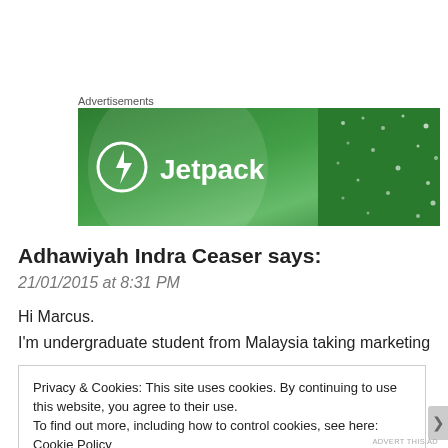Advertisements
[Figure (logo): Jetpack advertisement banner with green background, white Jetpack logo icon and text]
Adhawiyah Indra Ceaser says:
21/01/2015 at 8:31 PM
Hi Marcus.
I'm undergraduate student from Malaysia taking marketing
Privacy & Cookies: This site uses cookies. By continuing to use this website, you agree to their use.
To find out more, including how to control cookies, see here: Cookie Policy
Close and accept